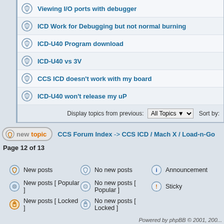Viewing I/O ports with debugger
ICD Work for Debugging but not normal burning
ICD-U40 Program download
ICD-U40 vs 3V
CCS ICD doesn't work with my board
ICD-U40 won't release my uP
Display topics from previous: All Topics Sort by:
new topic  CCS Forum Index -> CCS ICD / Mach X / Load-n-Go
Page 12 of 13
New posts   No new posts   Announcement   New posts [ Popular ]   No new posts [ Popular ]   Sticky   New posts [ Locked ]   No new posts [ Locked ]
Powered by phpBB © 2001, 200...